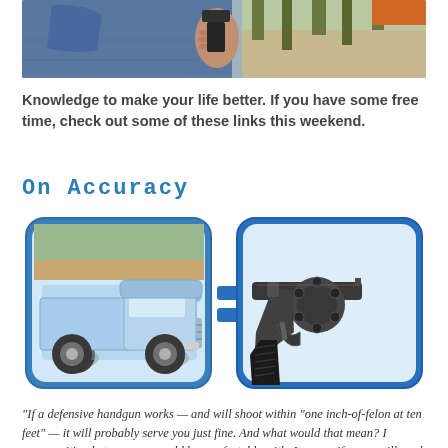[Figure (photo): Photo of a person holding a gun, wearing jeans, with outdoor background]
Knowledge to make your life better. If you have some free time, check out some of these links this weekend.
On Accuracy
[Figure (infographic): Infographic showing a vintage light blue pickup truck equals a revolver handgun, illustrating the concept of defensive handgun accuracy]
“If a defensive handgun works — and will shoot within “one inch-of-felon at ten feet” — it will probably serve you just fine. And what would that mean? I suppose it’s whatever you would be comfortable with. It seems if a gun will work and shoot within a 4” paper plate at ten feet it will probably protect the “average” you, and even further than that if you need it too. There’s no need for